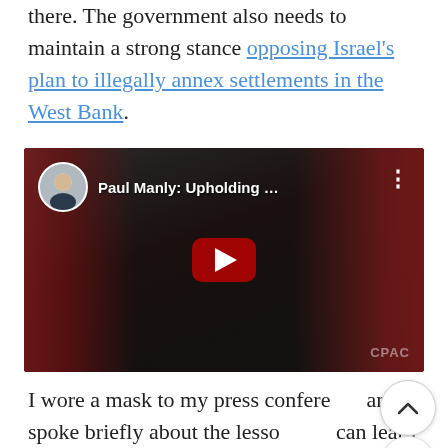there. The government also needs to maintain a strong stance opposing Israel's plan to illegally annex settlements in the West Bank.
[Figure (screenshot): YouTube video embed showing Paul Manly: Upholding … with a play button, avatar, and title overlay on a dark background with Canadian flags]
I wore a mask to my press conference and spoke briefly about the lessons we can learn from how Taiwan has handled the pandemic. I recently wrote a blog post about how Taiwan has successfully curbed their COVID-19 cases, largely